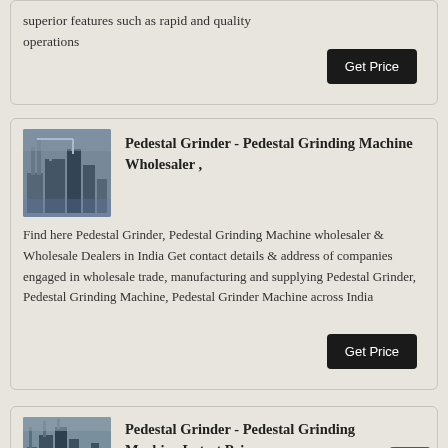superior features such as rapid and quality operations
[Figure (screenshot): Get Price button (dark/black background with white text)]
[Figure (photo): Aerial photo of industrial/grinding machinery plant]
Pedestal Grinder - Pedestal Grinding Machine Wholesaler ,
Find here Pedestal Grinder, Pedestal Grinding Machine wholesaler & Wholesale Dealers in India Get contact details & address of companies engaged in wholesale trade, manufacturing and supplying Pedestal Grinder, Pedestal Grinding Machine, Pedestal Grinder Machine across India
[Figure (screenshot): Get Price button (dark/black background with white text)]
[Figure (photo): Photo of industrial pedestal grinding machines/plant]
Pedestal Grinder - Pedestal Grinding Machine Latest Price ,